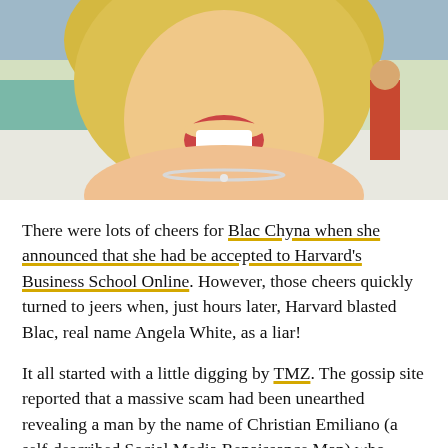[Figure (photo): Photo of a laughing blonde woman wearing a diamond necklace, photographed outdoors]
There were lots of cheers for Blac Chyna when she announced that she had be accepted to Harvard's Business School Online. However, those cheers quickly turned to jeers when, just hours later, Harvard blasted Blac, real name Angela White, as a liar!
It all started with a little digging by TMZ. The gossip site reported that a massive scam had been unearthed revealing a man by the name of Christian Emiliano (a self-described Social Media Renaissance Man) who offered to get folks like Chyna into the Ivy League certificate program, do the work for them and give them all the props. Apparently, Blac turned the offer down, but